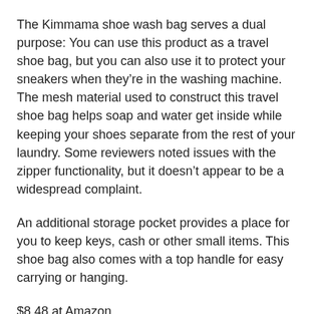The Kimmama shoe wash bag serves a dual purpose: You can use this product as a travel shoe bag, but you can also use it to protect your sneakers when they’re in the washing machine. The mesh material used to construct this travel shoe bag helps soap and water get inside while keeping your shoes separate from the rest of your laundry. Some reviewers noted issues with the zipper functionality, but it doesn’t appear to be a widespread complaint.
An additional storage pocket provides a place for you to keep keys, cash or other small items. This shoe bag also comes with a top handle for easy carrying or hanging.
$8.48 at Amazon
This travel shoe pouch can be purchased in sets of two or four, and it’s on the affordable side when you compare it with other options. Each shoe pouch holds a pair of shoes up to men’s size 14, and the material is water-resistant and lightweight. A quality, custom-made zipper also ensures